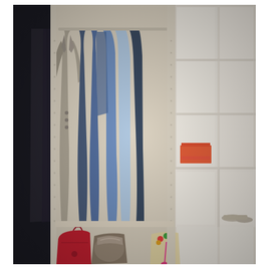[Figure (photo): Interior photo of an organized walk-in closet showing hanging clothing (blazers, dress shirts, and blue patterned garments) on the left side, white shelving units on the right with cubby compartments containing folded orange/red clothing and shoes, and the lower shelf area holding handbags including a red bag and metallic clutches along with colorful accessories.]